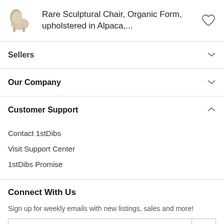[Figure (photo): Small thumbnail image of a sculptural upholstered chair in beige/cream color]
Rare Sculptural Chair, Organic Form, upholstered in Alpaca,...
Sellers
Our Company
Customer Support
Contact 1stDibs
Visit Support Center
1stDibs Promise
Connect With Us
Sign up for weekly emails with new listings, sales and more!
Yes, here's my email